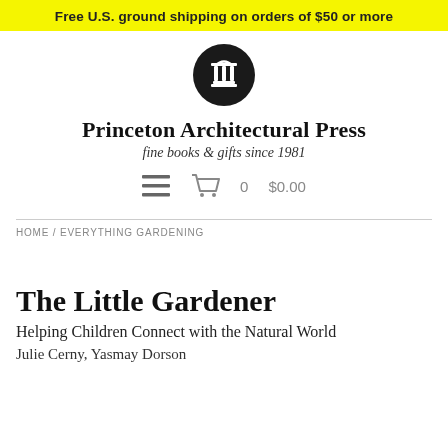Free U.S. ground shipping on orders of $50 or more
[Figure (logo): Princeton Architectural Press circular logo — black circle with white column capital icon]
Princeton Architectural Press
fine books & gifts since 1981
[Figure (infographic): Navigation bar with hamburger menu icon and shopping cart icon showing 0 items at $0.00]
HOME / EVERYTHING GARDENING
The Little Gardener
Helping Children Connect with the Natural World
Julie Cerny, Yasmay Dorson